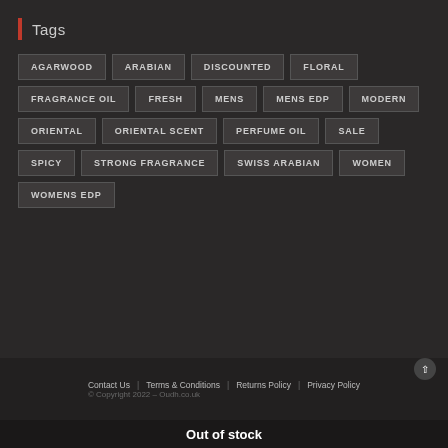Tags
AGARWOOD
ARABIAN
DISCOUNTED
FLORAL
FRAGRANCE OIL
FRESH
MENS
MENS EDP
MODERN
ORIENTAL
ORIENTAL SCENT
PERFUME OIL
SALE
SPICY
STRONG FRAGRANCE
SWISS ARABIAN
WOMEN
WOMENS EDP
Contact Us | Terms & Conditions | Returns Policy | Privacy Policy
© Copyright 2022 – Oudh.co.uk
Out of stock